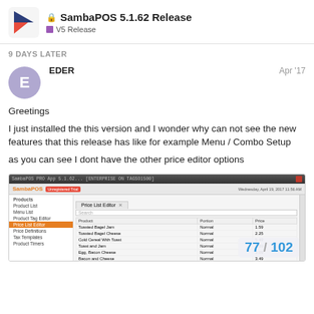SambaPOS 5.1.62 Release — V5 Release
9 DAYS LATER
EDER — Apr '17
Greetings
I just installed the this version and I wonder why can not see the new features that this release has like for example Menu / Combo Setup

as you can see I dont have the other price editor options
[Figure (screenshot): SambaPOS application screenshot showing Products sidebar with Price List Editor selected (highlighted orange), and a Price List Editor panel with a table listing products like Toasted Bagel Jam, Toasted Bagel Cheese, Cold Cereal With Toast, Toast and Jam, Egg, Bacon Cheese, Bacon and Cheese, Bacon and Tomato, Soup and Crackers, Soup and Toasted Bagel, Salad with Soup, with Normal portion and prices.]
77 / 102